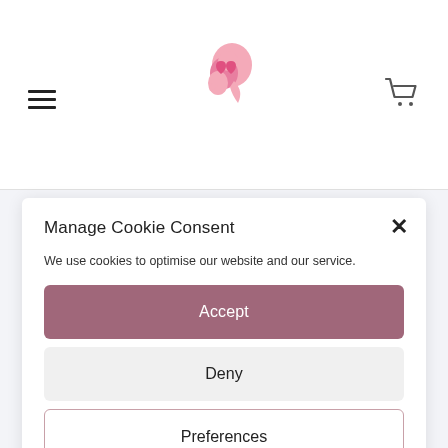[Figure (logo): Pink flamingo-like logo icon in the center of the header]
[Figure (illustration): Hamburger menu icon (three horizontal lines) on the left of the header]
[Figure (illustration): Shopping cart icon on the right of the header]
Manage Cookie Consent
We use cookies to optimise our website and our service.
Accept
Deny
Preferences